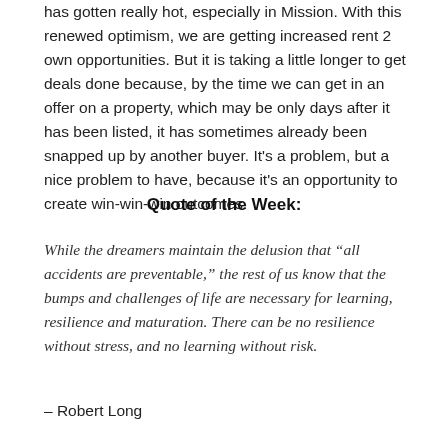has gotten really hot, especially in Mission. With this renewed optimism, we are getting increased rent 2 own opportunities. But it is taking a little longer to get deals done because, by the time we can get in an offer on a property, which may be only days after it has been listed, it has sometimes already been snapped up by another buyer. It's a problem, but a nice problem to have, because it's an opportunity to create win-win-win outcomes.
Quote of the Week:
While the dreamers maintain the delusion that “all accidents are preventable,” the rest of us know that the bumps and challenges of life are necessary for learning, resilience and maturation. There can be no resilience without stress, and no learning without risk.
– Robert Long